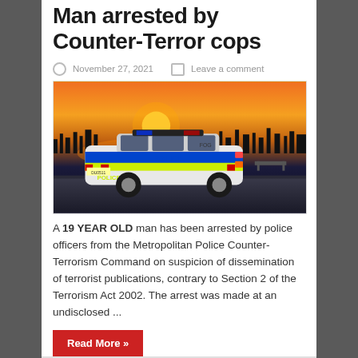Man arrested by Counter-Terror cops
November 27, 2021   Leave a comment
[Figure (photo): UK Metropolitan Police car with yellow and blue livery parked on a hilltop at sunset with London skyline in background]
A 19 YEAR OLD man has been arrested by police officers from the Metropolitan Police Counter-Terrorism Command on suspicion of dissemination of terrorist publications, contrary to Section 2 of the Terrorism Act 2002. The arrest was made at an undisclosed ...
Read More »